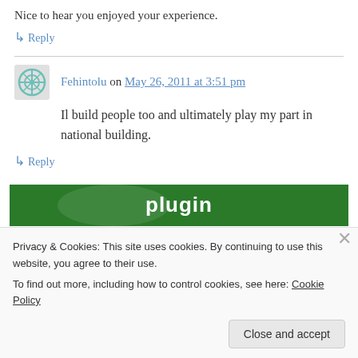Nice to hear you enjoyed your experience.
↳ Reply
Fehintolu on May 26, 2011 at 3:51 pm
Il build people too and ultimately play my part in national building.
↳ Reply
[Figure (other): Green plugin banner with white bold text reading 'plugin']
Privacy & Cookies: This site uses cookies. By continuing to use this website, you agree to their use.
To find out more, including how to control cookies, see here: Cookie Policy